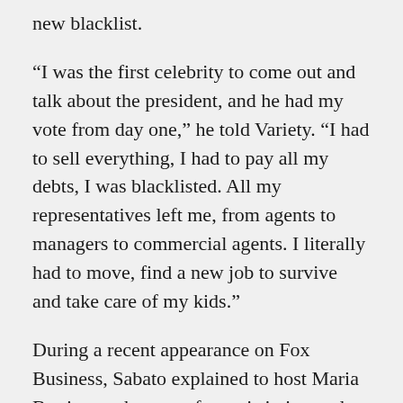new blacklist.
“I was the first celebrity to come out and talk about the president, and he had my vote from day one,” he told Variety. “I had to sell everything, I had to pay all my debts, I was blacklisted. All my representatives left me, from agents to managers to commercial agents. I literally had to move, find a new job to survive and take care of my kids.”
During a recent appearance on Fox Business, Sabato explained to host Maria Bartiromo that your future is in jeopardy if Hollywood has disdain for your political point of view or your religious belief system.